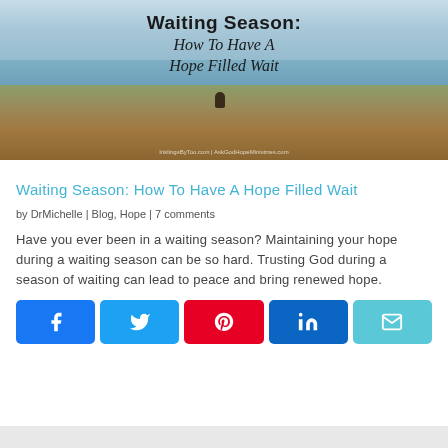[Figure (photo): Hero image of a person sitting on rocky coastal cliffs overlooking ocean waves, with overlaid text reading 'Waiting Season: How To Have A Hope Filled Wait']
Waiting Season: How To Have A Hope Filled Wait
by DrMichelle | Blog, Hope | 7 comments
Have you ever been in a waiting season? Maintaining your hope during a waiting season can be so hard. Trusting God during a season of waiting can lead to peace and bring renewed hope.
[Figure (infographic): Social sharing buttons: Facebook, Twitter, Pinterest, LinkedIn, Email]